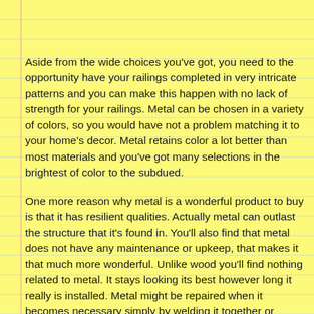Aside from the wide choices you've got, you need to the opportunity have your railings completed in very intricate patterns and you can make this happen with no lack of strength for your railings. Metal can be chosen in a variety of colors, so you would have not a problem matching it to your home's decor. Metal retains color a lot better than most materials and you've got many selections in the brightest of color to the subdued.
One more reason why metal is a wonderful product to buy is that it has resilient qualities. Actually metal can outlast the structure that it's found in. You'll also find that metal does not have any maintenance or upkeep, that makes it that much more wonderful. Unlike wood you'll find nothing related to metal. It stays looking its best however long it really is installed. Metal might be repaired when it becomes necessary simply by welding it together or adding another piece. You may even repair